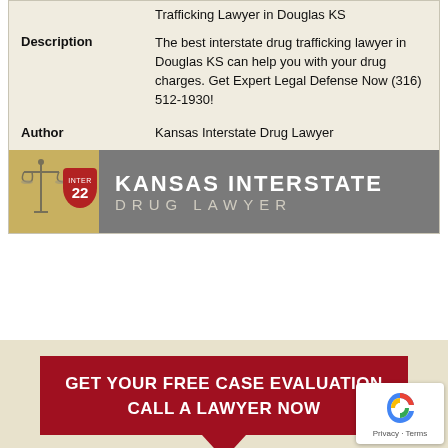| Field | Value |
| --- | --- |
|  | Trafficking Lawyer in Douglas KS |
| Description | The best interstate drug trafficking lawyer in Douglas KS can help you with your drug charges. Get Expert Legal Defense Now (316) 512-1930! |
| Author | Kansas Interstate Drug Lawyer |
[Figure (logo): Kansas Interstate Drug Lawyer logo with scales of justice and Interstate 22 highway sign on tan background, gray background with white text KANSAS INTERSTATE DRUG LAWYER]
[Figure (infographic): Red banner reading GET YOUR FREE CASE EVALUATION CALL A LAWYER NOW with downward pointing speech bubble arrow, below which is a gray circle with text TOP LAWYER STANDING BY and a person silhouette icon]
[Figure (other): reCAPTCHA privacy badge with blue/red swirl logo and Privacy - Terms text]